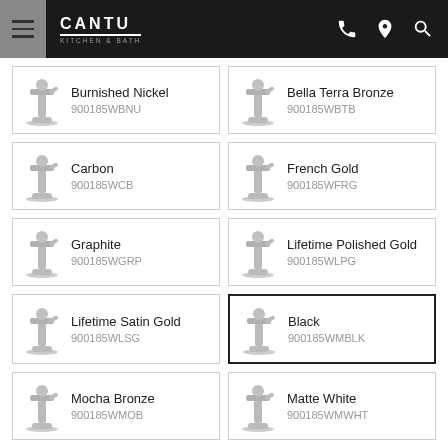CANTU
Burnished Nickel
900185WBNU
Bella Terra Bronze
900185WBTB
Carbon
900185WCB
French Gold
900185WFRG
Graphite
900185WGRP
Lifetime Polished Gold
900185WLPG
Lifetime Satin Gold
900185WLSG
Black
900185WMBLK
Mocha Bronze
900185WMOB
Matte White
900185WMWHT
Oil Rubbed Bronze
900185WORB
Polished Brass
900185WPB
Polished T...
Polished St...